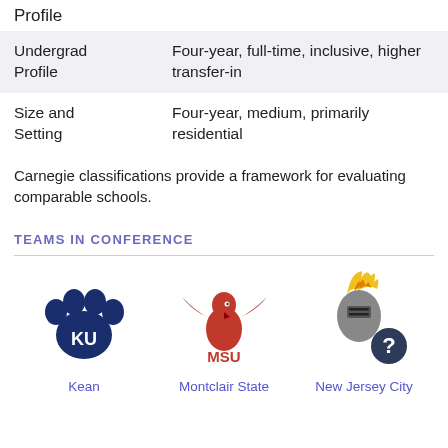Profile
| Undergrad Profile | Four-year, full-time, inclusive, higher transfer-in |
| Size and Setting | Four-year, medium, primarily residential |
Carnegie classifications provide a framework for evaluating comparable schools.
TEAMS IN CONFERENCE
[Figure (logo): Kean University logo - blue paw print with KU letters]
[Figure (logo): Montclair State University logo - red hawk with MSU text]
[Figure (logo): New Jersey City University logo - knight helmet with flame and question mark]
Kean
Montclair State
New Jersey City